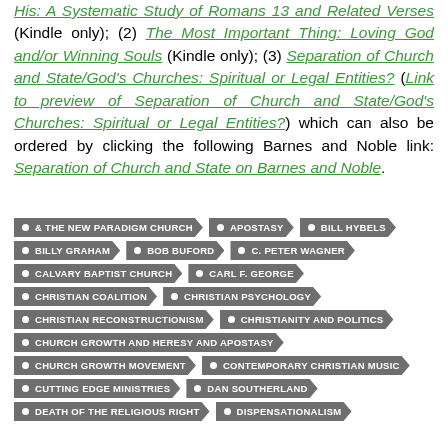His: A Systematic Study of Romans 13 and Related Verses (Kindle only); (2) The Most Important Thing: Loving God and/or Winning Souls (Kindle only); (3) Separation of Church and State/God's Churches: Spiritual or Legal Entities? (Link to preview of Separation of Church and State/God's Churches: Spiritual or Legal Entities?) which can also be ordered by clicking the following Barnes and Noble link: Separation of Church and State on Barnes and Noble.
& THE NEW PARADIGM CHURCH
APOSTASY
BILL HYBELS
BILLY GRAHAM
BOB BUFORD
C. PETER WAGNER
CALVARY BAPTIST CHURCH
CARL F. GEORGE
CHRISTIAN COALITION
CHRISTIAN PSYCHOLOGY
CHRISTIAN RECONSTRUCTIONISM
CHRISTIANITY AND POLITICS
CHURCH GROWTH AND HERESY AND APOSTASY
CHURCH GROWTH MOVEMENT
CONTEMPORARY CHRISTIAN MUSIC
CUTTING EDGE MINISTRIES
DAN SOUTHERLAND
DEATH OF THE RELIGIOUS RIGHT
DISPENSATIONALISM